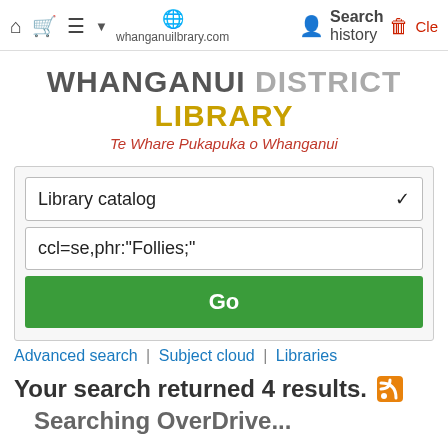whanganuilbrary.com  Search history  Cle
[Figure (logo): Whanganui District Library logo with tagline Te Whare Pukapuka o Whanganui]
Library catalog
ccl=se,phr:"Follies;"
Go
Advanced search | Subject cloud | Libraries
Your search returned 4 results. Searching OverDrive...